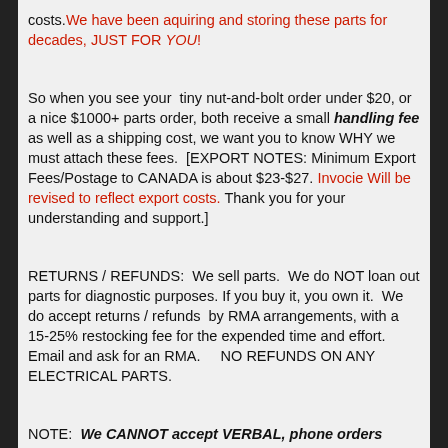costs. We have been aquiring and storing these parts for decades, JUST FOR YOU!
So when you see your tiny nut-and-bolt order under $20, or a nice $1000+ parts order, both receive a small handling fee as well as a shipping cost, we want you to know WHY we must attach these fees. [EXPORT NOTES: Minimum Export Fees/Postage to CANADA is about $23-$27. Invocie Will be revised to reflect export costs. Thank you for your understanding and support.]
RETURNS / REFUNDS: We sell parts. We do NOT loan out parts for diagnostic purposes. If you buy it, you own it. We do accept returns / refunds by RMA arrangements, with a 15-25% restocking fee for the expended time and effort. Email and ask for an RMA. NO REFUNDS ON ANY ELECTRICAL PARTS.
NOTE: We CANNOT accept VERBAL, phone orders